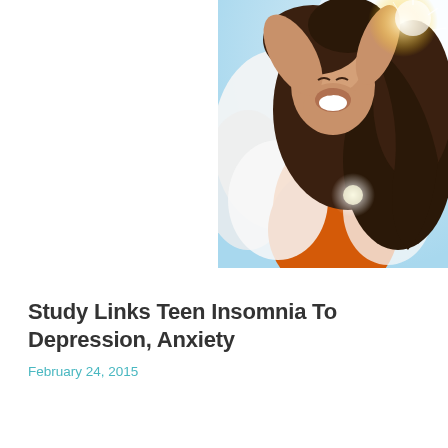[Figure (photo): Young woman with long dark hair wearing an orange top and open white shirt, laughing joyfully with arms raised, photographed from below against a bright sky with sunlight flare.]
Study Links Teen Insomnia To Depression, Anxiety
February 24, 2015